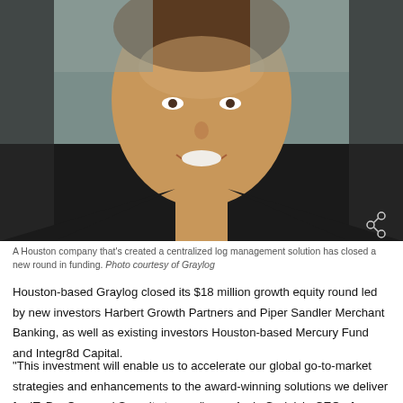[Figure (photo): Headshot of Andy Grolnick, CEO of Graylog, a middle-aged man smiling, wearing a black jacket, against a light grey background. A share icon appears in the bottom-right corner of the photo.]
A Houston company that’s created a centralized log management solution has closed a new round in funding. Photo courtesy of Graylog
Houston-based Graylog closed its $18 million growth equity round led by new investors Harbert Growth Partners and Piper Sandler Merchant Banking, as well as existing investors Houston-based Mercury Fund and Integr8d Capital.
“This investment will enable us to accelerate our global go-to-market strategies and enhancements to the award-winning solutions we deliver for IT, DevOps, and Security teams,” says Andy Grolnick, CEO of Graylog, in a press